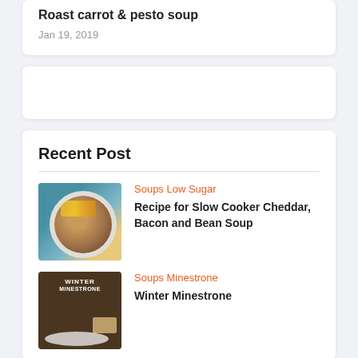Roast carrot & pesto soup
Jan 19, 2019
Recent Post
Soups Low Sugar
Recipe for Slow Cooker Cheddar, Bacon and Bean Soup
Soups Minestrone
Winter Minestrone